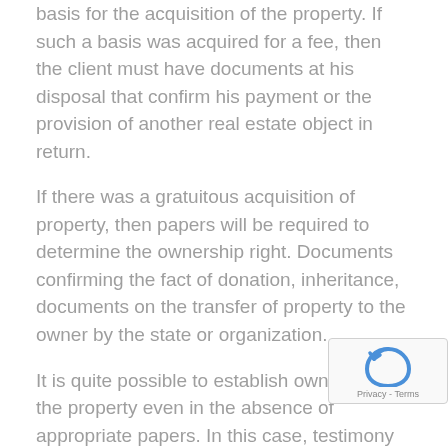basis for the acquisition of the property. If such a basis was acquired for a fee, then the client must have documents at his disposal that confirm his payment or the provision of another real estate object in return.
If there was a gratuitous acquisition of property, then papers will be required to determine the ownership right. Documents confirming the fact of donation, inheritance, documents on the transfer of property to the owner by the state or organization.
It is quite possible to establish ownership of the property even in the absence of appropriate papers. In this case, testimony of witnesses and some arguments in the form of a document are required that can prove the actual use of the property. Such evidence may include receipts for utility bills or taxes.
In legal practice, the most noticeable among property...